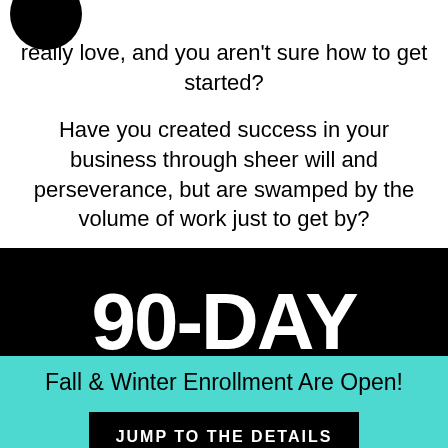[Figure (illustration): Black circle logo/avatar in top-left corner]
really love, and you aren't sure how to get started?
Have you created success in your business through sheer will and perseverance, but are swamped by the volume of work just to get by?
90-DAY
Fall & Winter Enrollment Are Open!
JUMP TO THE DETAILS